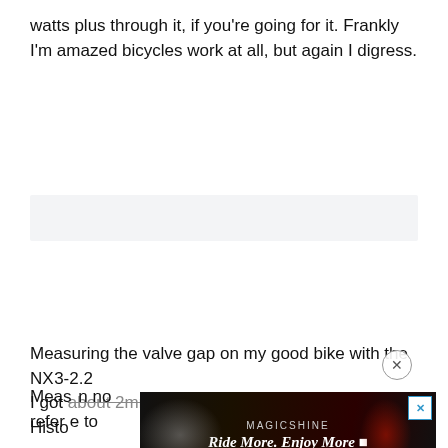watts plus through it, if you're going for it. Frankly I'm amazed bicycles work at all, but again I digress.
[Figure (other): Gray placeholder advertisement banner area]
Measuring the valve gap on my good bike with the NX3-2.2 I got about 2mm, which was pretty good I thought. Historically Measuring with no reference to
[Figure (other): Popup advertisement overlay with close button (X). Bottom ad: Magicshine 'Ride More. Enjoy More' banner ad with bicycle light imagery on dark background, with X close button in top right.]